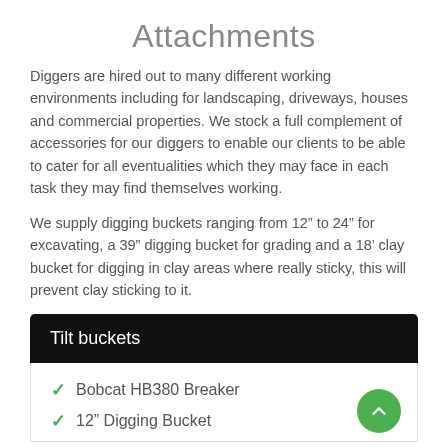Attachments
Diggers are hired out to many different working environments including for landscaping, driveways, houses and commercial properties. We stock a full complement of accessories for our diggers to enable our clients to be able to cater for all eventualities which they may face in each task they may find themselves working.
We supply digging buckets ranging from 12" to 24" for excavating, a 39" digging bucket for grading and a 18' clay bucket for digging in clay areas where really sticky, this will prevent clay sticking to it.
Tilt buckets
Bobcat HB380 Breaker
12" Digging Bucket